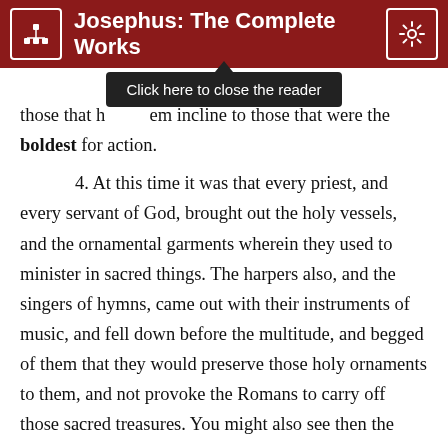Josephus: The Complete Works
[Figure (screenshot): Tooltip overlay reading 'Click here to close the reader']
those that have them incline to those that were the boldest for action. 4. At this time it was that every priest, and every servant of God, brought out the holy vessels, and the ornamental garments wherein they used to minister in sacred things. The harpers also, and the singers of hymns, came out with their instruments of music, and fell down before the multitude, and begged of them that they would preserve those holy ornaments to them, and not provoke the Romans to carry off those sacred treasures. You might also see then the high priests themselves, with dust sprinkled in great plenty upon their heads, with